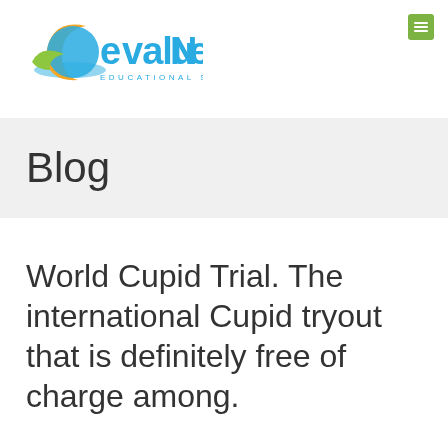[Figure (logo): EvaluNet Educational Software logo — colorful stylized text with crescent moon and leaf graphic]
Blog
World Cupid Trial. The international Cupid tryout that is definitely free of charge among.